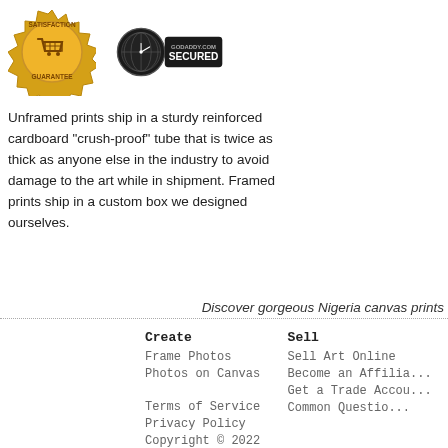[Figure (logo): Satisfaction Guarantee gold badge with shopping cart icon]
[Figure (logo): GoDaddy.com Secured badge with globe/clock icon]
Unframed prints ship in a sturdy reinforced cardboard "crush-proof" tube that is twice as thick as anyone else in the industry to avoid damage to the art while in shipment. Framed prints ship in a custom box we designed ourselves.
Discover gorgeous Nigeria canvas prints
Create
Frame Photos
Photos on Canvas
Sell
Sell Art Online
Become an Affiliate
Get a Trade Account
Common Questions
Terms of Service
Privacy Policy
Copyright © 2022